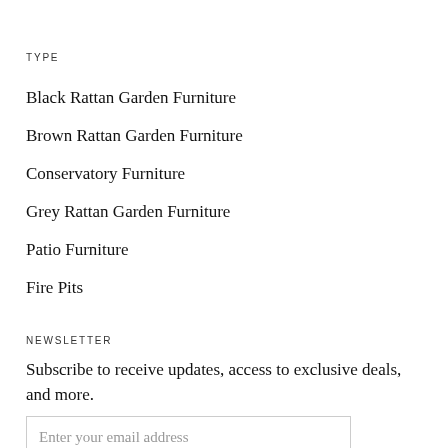TYPE
Black Rattan Garden Furniture
Brown Rattan Garden Furniture
Conservatory Furniture
Grey Rattan Garden Furniture
Patio Furniture
Fire Pits
NEWSLETTER
Subscribe to receive updates, access to exclusive deals, and more.
Enter your email address